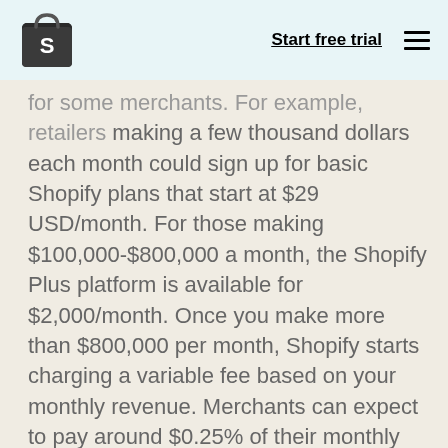Start free trial
for some merchants. For example, retailers making a few thousand dollars each month could sign up for basic Shopify plans that start at $29 USD/month. For those making $100,000-$800,000 a month, the Shopify Plus platform is available for $2,000/month. Once you make more than $800,000 per month, Shopify starts charging a variable fee based on your monthly revenue. Merchants can expect to pay around $0.25% of their monthly turnover. Demandware, on the other hand, is purely commission-based, charging merchants 0.75%-1.25% or more of their monthly revenue.